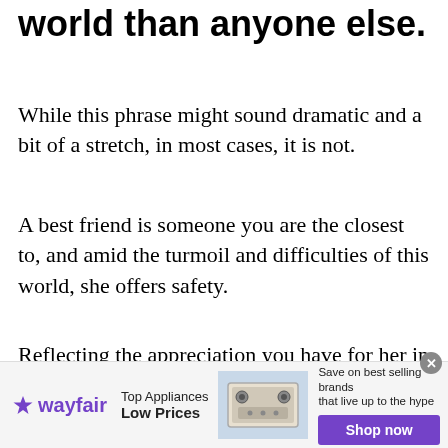world than anyone else.
While this phrase might sound dramatic and a bit of a stretch, in most cases, it is not.
A best friend is someone you are the closest to, and amid the turmoil and difficulties of this world, she offers safety.
Reflecting the appreciation you have for her in the words you're saying to your best friend on her wedding day, can mean everything.
[Figure (other): Wayfair advertisement banner: Top Appliances Low Prices, with stove image and Shop now button]